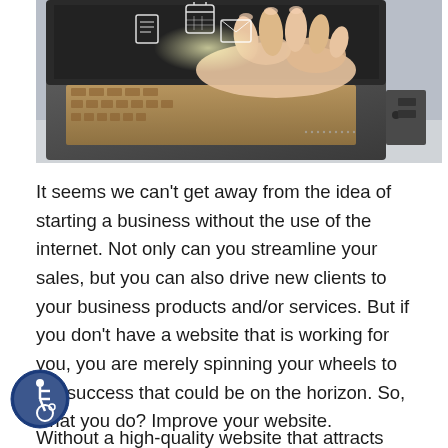[Figure (photo): Hands typing on a laptop keyboard with glowing digital icons floating above, representing internet and digital business]
It seems we can't get away from the idea of starting a business without the use of the internet. Not only can you streamline your sales, but you can also drive new clients to your business products and/or services. But if you don't have a website that is working for you, you are merely spinning your wheels to the success that could be on the horizon. So, what you do? Improve your website.
[Figure (logo): Accessibility icon — blue circle with white wheelchair user symbol]
Without a high-quality website that attracts visitors...